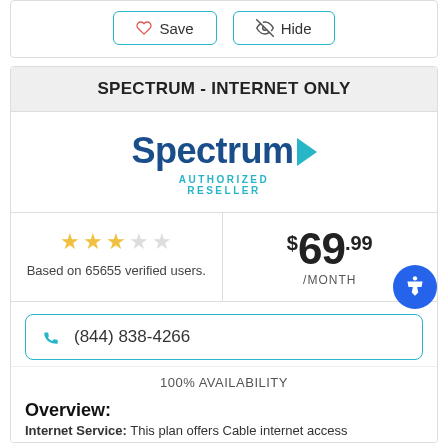[Figure (other): Save and Hide buttons with heart and eye-slash icons, styled with teal borders]
SPECTRUM - INTERNET ONLY
[Figure (logo): Spectrum Authorized Reseller logo with dark blue bold text and teal arrow]
Based on 65655 verified users.
$69.99 /MONTH
(844) 838-4266
100% AVAILABILITY
Overview:
Internet Service: This plan offers Cable internet access